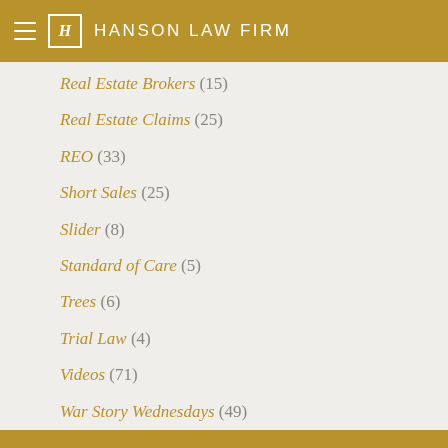HANSON LAW FIRM
Real Estate Brokers (15)
Real Estate Claims (25)
REO (33)
Short Sales (25)
Slider (8)
Standard of Care (5)
Trees (6)
Trial Law (4)
Videos (71)
War Story Wednesdays (49)